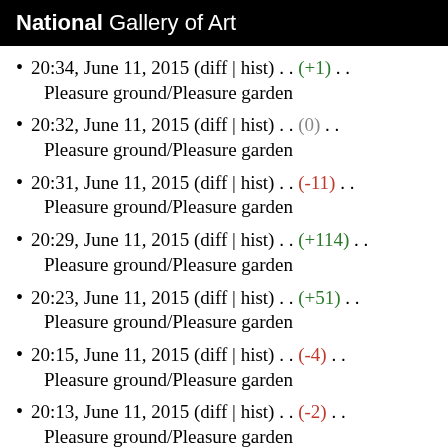National Gallery of Art
20:34, June 11, 2015 (diff | hist) . . (+1) . . Pleasure ground/Pleasure garden
20:32, June 11, 2015 (diff | hist) . . (0) . . Pleasure ground/Pleasure garden
20:31, June 11, 2015 (diff | hist) . . (-11) . . Pleasure ground/Pleasure garden
20:29, June 11, 2015 (diff | hist) . . (+114) . . Pleasure ground/Pleasure garden
20:23, June 11, 2015 (diff | hist) . . (+51) . . Pleasure ground/Pleasure garden
20:15, June 11, 2015 (diff | hist) . . (-4) . . Pleasure ground/Pleasure garden
20:13, June 11, 2015 (diff | hist) . . (-2) . . Pleasure ground/Pleasure garden